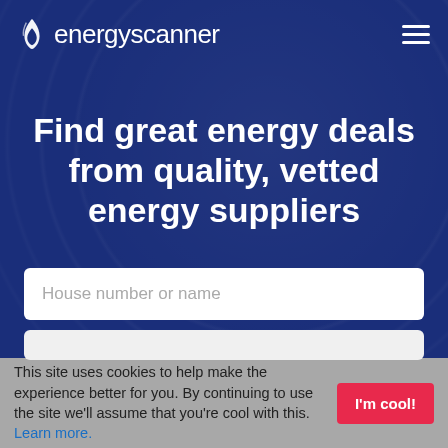energyscanner
Find great energy deals from quality, vetted energy suppliers
House number or name
This site uses cookies to help make the experience better for you. By continuing to use the site we'll assume that you're cool with this. Learn more.